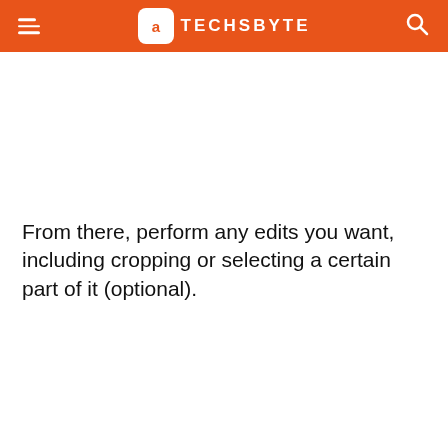TECHSBYTE
From there, perform any edits you want, including cropping or selecting a certain part of it (optional).